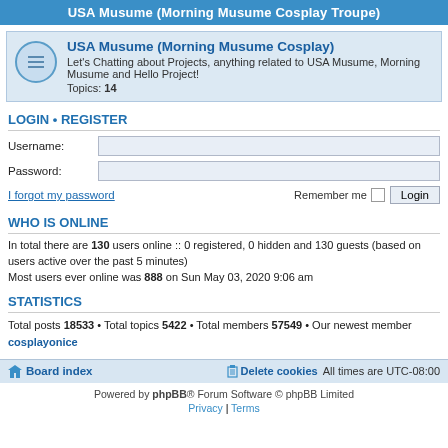USA Musume (Morning Musume Cosplay Troupe)
USA Musume (Morning Musume Cosplay)
Let's Chatting about Projects, anything related to USA Musume, Morning Musume and Hello Project!
Topics: 14
LOGIN • REGISTER
Username:
Password:
I forgot my password
Remember me  Login
WHO IS ONLINE
In total there are 130 users online :: 0 registered, 0 hidden and 130 guests (based on users active over the past 5 minutes)
Most users ever online was 888 on Sun May 03, 2020 9:06 am
STATISTICS
Total posts 18533 • Total topics 5422 • Total members 57549 • Our newest member cosplayonice
Board index  Delete cookies  All times are UTC-08:00
Powered by phpBB® Forum Software © phpBB Limited
Privacy | Terms